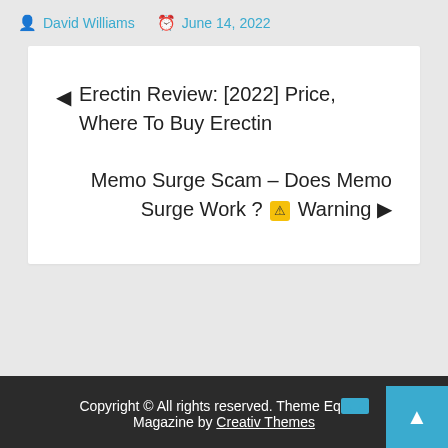David Williams  June 14, 2022
◄ Erectin Review: [2022] Price, Where To Buy Erectin
Memo Surge Scam – Does Memo Surge Work ? ⚠ Warning ►
Copyright © All rights reserved. Theme Eq... Magazine by Creativ Themes